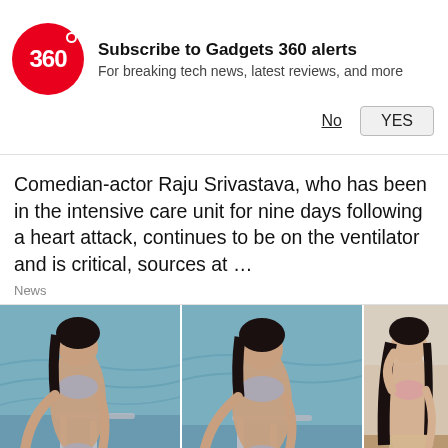[Figure (logo): Gadgets 360 red circular logo with white '360' text]
Subscribe to Gadgets 360 alerts
For breaking tech news, latest reviews, and more
No   YES
Comedian-actor Raju Srivastava, who has been in the intensive care unit for nine days following a heart attack, continues to be on the ventilator and is critical, sources at …
News
[Figure (photo): Three images side by side: two images of a woman in metallic silver bikini on a boat, and one image of a woman in a pink bikini top with beige skirt in a desert setting]
lie Jenner's Metallic Silver Bikini Ups
e Glitz Quotient Even At The Beach
Alanna Panday Is A
Another Stunning B